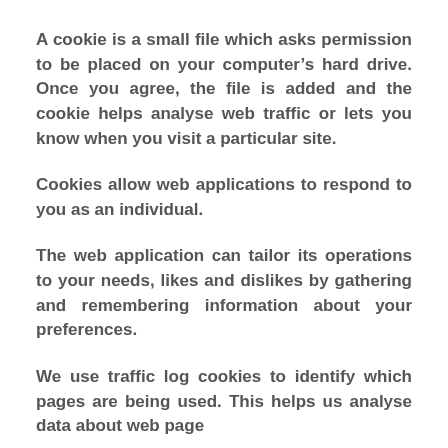A cookie is a small file which asks permission to be placed on your computer's hard drive. Once you agree, the file is added and the cookie helps analyse web traffic or lets you know when you visit a particular site.
Cookies allow web applications to respond to you as an individual.
The web application can tailor its operations to your needs, likes and dislikes by gathering and remembering information about your preferences.
We use traffic log cookies to identify which pages are being used. This helps us analyse data about web page